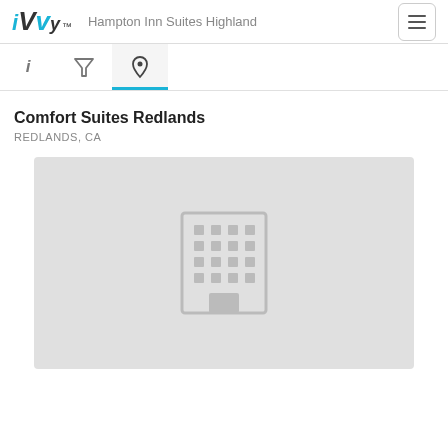iVvy — Hampton Inn Suites Highland
[Figure (screenshot): Navigation tab bar with info (i), filter, and location pin icons; location pin tab is active with blue underline]
Comfort Suites Redlands
REDLANDS, CA
[Figure (illustration): Gray placeholder map image with a building/hotel icon in the center]